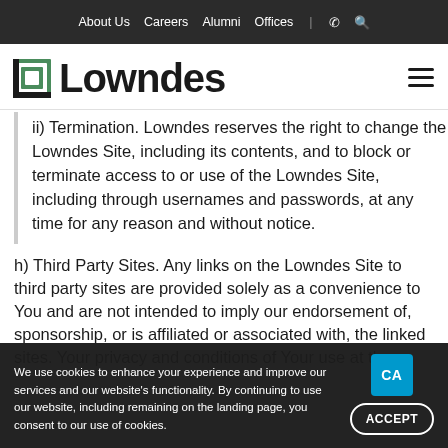About Us  Careers  Alumni  Offices  |  ☎  🔍
[Figure (logo): Lowndes law firm logo with green square bracket icon and bold black Lowndes wordmark]
ii) Termination. Lowndes reserves the right to change the Lowndes Site, including its contents, and to block or terminate access to or use of the Lowndes Site, including through usernames and passwords, at any time for any reason and without notice.
h) Third Party Sites. Any links on the Lowndes Site to third party sites are provided solely as a convenience to You and are not intended to imply our endorsement of, sponsorship, or is affiliated or associated with, the linked sites. Your privacy and conditions of Your use at those
We use cookies to enhance your experience and improve our services and our website's functionality. By continuing to use our website, including remaining on the landing page, you consent to our use of cookies.